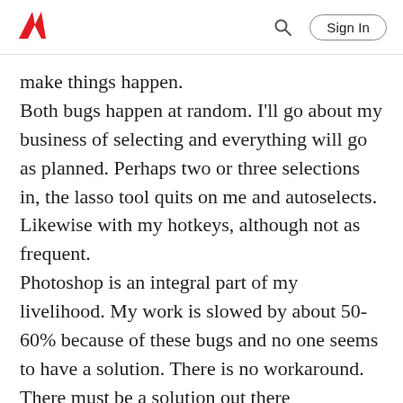Adobe | Sign In
make things happen.
Both bugs happen at random. I'll go about my business of selecting and everything will go as planned. Perhaps two or three selections in, the lasso tool quits on me and autoselects. Likewise with my hotkeys, although not as frequent.
Photoshop is an integral part of my livelihood. My work is slowed by about 50-60% because of these bugs and no one seems to have a solution. There is no workaround. There must be a solution out there somewhere. I fear I'm going to have to shell out another $2500 for a new Cintiq. Is anyone using a newer Wacom model and experiencing the same problem?